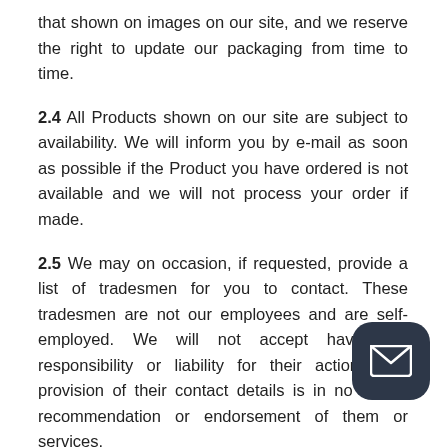that shown on images on our site, and we reserve the right to update our packaging from time to time.
2.4 All Products shown on our site are subject to availability. We will inform you by e-mail as soon as possible if the Product you have ordered is not available and we will not process your order if made.
2.5 We may on occasion, if requested, provide a list of tradesmen for you to contact. These tradesmen are not our employees and are self-employed. We will not accept have any responsibility or liability for their actions and provision of their contact details is in no way a recommendation or endorsement of them or services.
2.6 Our staff may, if requested, provide assistance